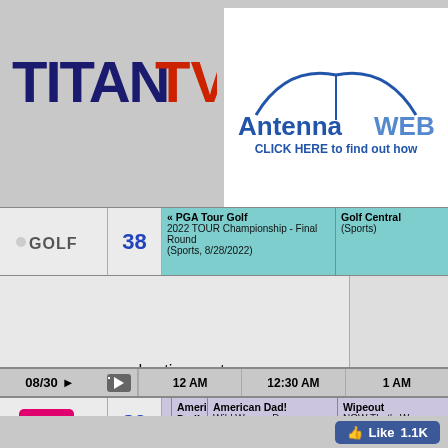[Figure (logo): Titan TV logo with red TV letters and dark blue TITAN text]
[Figure (logo): AntennaWeb logo with blue arc and text: CLICK HERE to find out how]
| Channel Logo | Ch# | Program | Next |
| --- | --- | --- | --- |
| GOLF | 38 | « PGA Tour Golf
2022 TOUR Championship - Final Round (Sports, 8/28/2022) | Golf Central (Sports) |
advertisement
| Date |  |  | 12 AM | 12:30 AM | 1 AM |
| --- | --- | --- | --- | --- | --- |
| TBS | 39 |  | American Dad! The Hall Monitor and the Lunch | American Dad! Wild Women Do (Repeat, Comedy, | Wipeout NOW That's W (Repeat, Com |
| TNT | 40 |  | « Angel Has Fallen (Drama, Movie, 2019, TV-14, R, ***, AD) |  | Cold Case Saving Samm (Drama, 10/22 |
| HISTORY | 41 |  | « An Alien Decl | Ancient Aliens: Declassified Aliens & Giants (New, True, 8/29/2022, TV-PG) |  |
08/30 ▶
[Figure (other): Facebook Like button showing 1.1K likes]